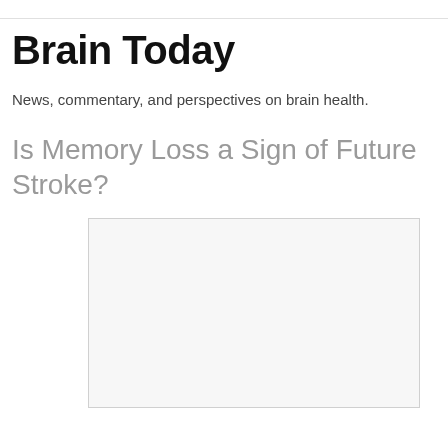Brain Today
News, commentary, and perspectives on brain health.
Is Memory Loss a Sign of Future Stroke?
[Figure (photo): Empty image placeholder box with light border and background]